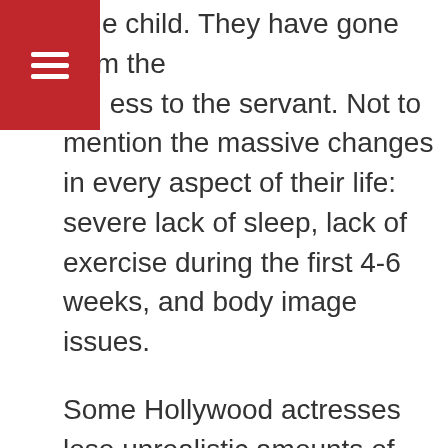t e child. They have gone from the p ess to the servant. Not to mention the massive changes in every aspect of their life: severe lack of sleep, lack of exercise during the first 4-6 weeks, and body image issues.

Some Hollywood actresses lose unrealistic amounts of weight immediately after birth, but most breastfeeding mothers lose the weight in approximately the amount of time it took to put it on (9-10 months). It's enough to make even intelligent, rational women compare themselves to hippos.